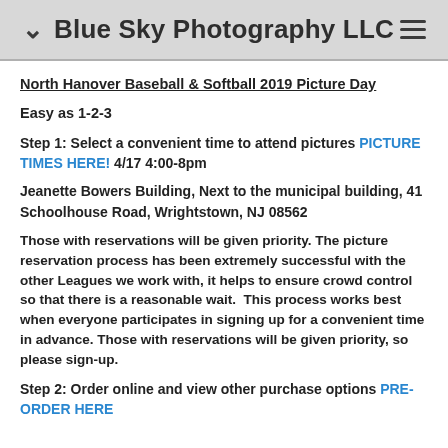Blue Sky Photography LLC
North Hanover Baseball & Softball 2019 Picture Day
Easy as 1-2-3
Step 1: Select a convenient time to attend pictures PICTURE TIMES HERE! 4/17 4:00-8pm
Jeanette Bowers Building, Next to the municipal building, 41 Schoolhouse Road, Wrightstown, NJ 08562
Those with reservations will be given priority. The picture reservation process has been extremely successful with the other Leagues we work with, it helps to ensure crowd control so that there is a reasonable wait.  This process works best when everyone participates in signing up for a convenient time in advance. Those with reservations will be given priority, so please sign-up.
Step 2: Order online and view other purchase options PRE-ORDER HERE